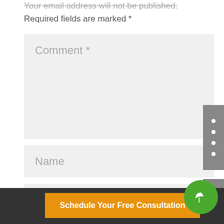Your email address will not be published.
Required fields are marked *
Comment *
Name
Email
Schedule Your Free Consultation